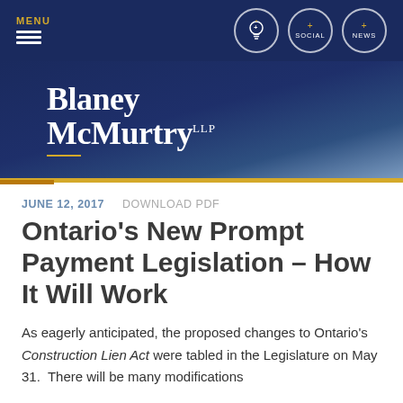MENU | [lightbulb icon] | SOCIAL | NEWS
[Figure (logo): Blaney McMurtry LLP law firm logo in white text on dark navy blue gradient background]
JUNE 12, 2017    DOWNLOAD PDF
Ontario's New Prompt Payment Legislation – How It Will Work
As eagerly anticipated, the proposed changes to Ontario's Construction Lien Act were tabled in the Legislature on May 31.  There will be many modifications